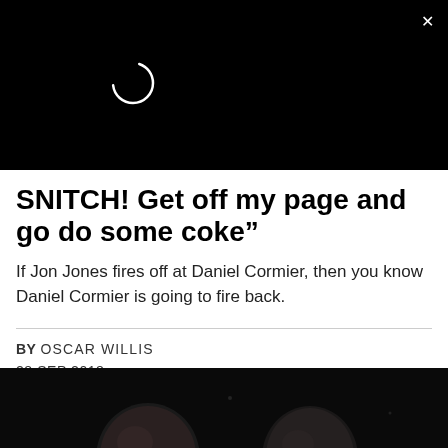[Figure (screenshot): Black video player area with a loading spinner circle and a white X close button in the top right corner]
SNITCH! Get off my page and go do some coke”
If Jon Jones fires off at Daniel Cormier, then you know Daniel Cormier is going to fire back.
BY OSCAR WILLIS
28 SEP 2018
[Figure (photo): Two men (athletes) photographed against a dark background, partial heads visible at bottom of page]